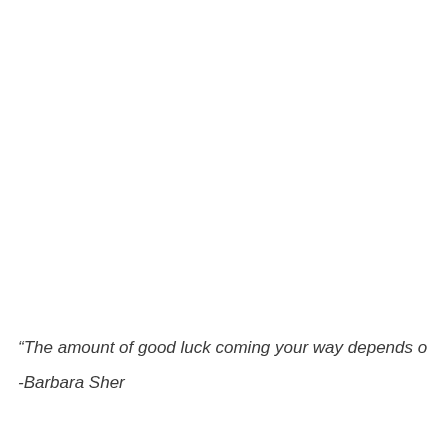“The amount of good luck coming your way depends o
-Barbara Sher